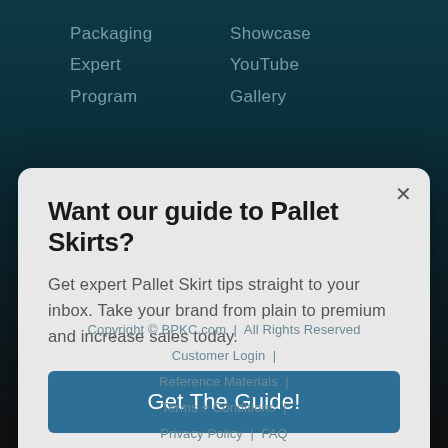Packaging
Expert
Program
Showcase
YouTube
Gallery
Want our guide to Pallet Skirts?
Get expert Pallet Skirt tips straight to your inbox. Take your brand from plain to premium and increase sales today.
Get The Guide!
Copyright © BPKC.com  |  All Rights Reserved
Customer Login  |
Reference Materials  |
Terms + Conditions  |
Privacy Policy  |  FAQ